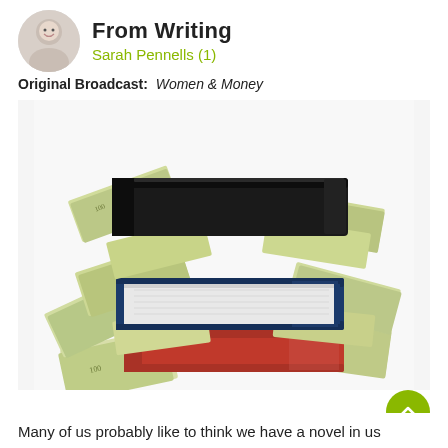From Writing
Sarah Pennells (1)
Original Broadcast: Women & Money
[Figure (photo): Stack of hardcover books (black, blue, and red) with US dollar bills fanned out between them, on a white background.]
Many of us probably like to think we have a novel in us